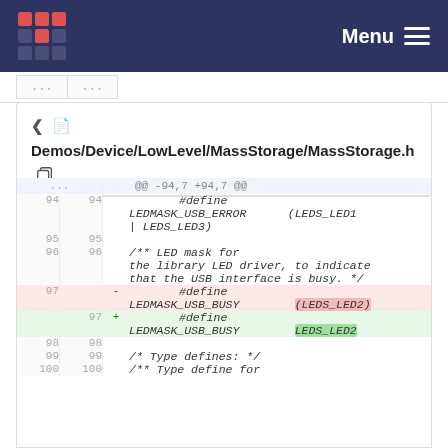Menu
... ...
Demos/Device/LowLevel/MassStorage/MassStorage.h
| old ln | new ln | sign | code |
| --- | --- | --- | --- |
| ... | ... |  | @@ -94,7 +94,7 @@ |
| 94 | 94 |  | #define LEDMASK_USB_ERROR (LEDS_LED1 | LEDS_LED3) |
| 95 | 95 |  |  |
| 96 | 96 |  | /** LED mask for the library LED driver, to indicate that the USB interface is busy. */ |
| 97 |  | - | #define LEDMASK_USB_BUSY (LEDS_LED2) |
|  | 97 | + | #define LEDMASK_USB_BUSY LEDS_LED2 |
| 98 | 98 |  |  |
| 99 | 99 |  | /* Type defines: */ |
| 100 | 100 |  | /** Type define for |